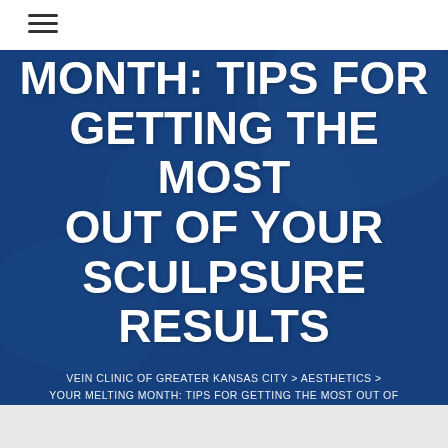☰
MONTH: TIPS FOR GETTING THE MOST OUT OF YOUR SCULPSURE RESULTS
VEIN CLINIC OF GREATER KANSAS CITY > AESTHETICS > YOUR MELTING MONTH: TIPS FOR GETTING THE MOST OUT OF YOUR SCULPSURE RESULTS